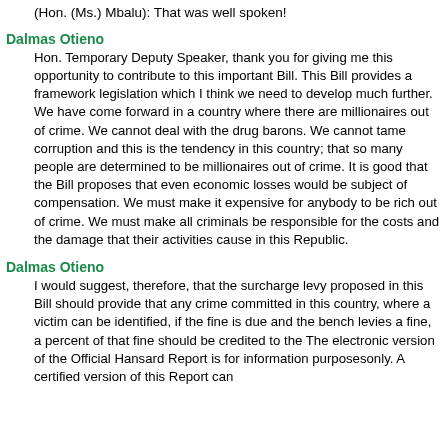(Hon. (Ms.) Mbalu): That was well spoken!
Dalmas Otieno
Hon. Temporary Deputy Speaker, thank you for giving me this opportunity to contribute to this important Bill. This Bill provides a framework legislation which I think we need to develop much further. We have come forward in a country where there are millionaires out of crime. We cannot deal with the drug barons. We cannot tame corruption and this is the tendency in this country; that so many people are determined to be millionaires out of crime. It is good that the Bill proposes that even economic losses would be subject of compensation. We must make it expensive for anybody to be rich out of crime. We must make all criminals be responsible for the costs and the damage that their activities cause in this Republic.
Dalmas Otieno
I would suggest, therefore, that the surcharge levy proposed in this Bill should provide that any crime committed in this country, where a victim can be identified, if the fine is due and the bench levies a fine, a percent of that fine should be credited to the The electronic version of the Official Hansard Report is for information purposesonly. A certified version of this Report can